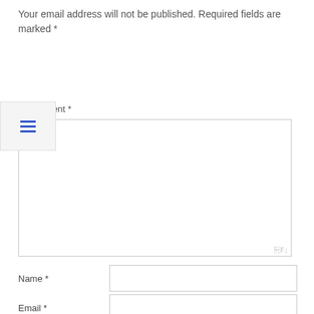Your email address will not be published. Required fields are marked *
Comment *
[Figure (screenshot): Menu/hamburger icon button with three horizontal blue lines on a light grey background]
Name *
Email *
Website
POST COMMENT